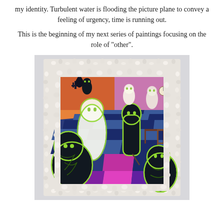my identity. Turbulent water is flooding the picture plane to convey a feeling of urgency, time is running out.

This is the beginning of my next series of paintings focusing on the role of "other".
[Figure (photo): A colorful painting displayed on a gallery wall. The painting features ghost-like figures — some white/luminous, some dark with neon green outlines — on a checkered floor in vibrant colors including blue, magenta, orange, and pink. The canvas has a heavily textured white frame edge. Several ghost figures of varying sizes are arranged in a room-like setting with chairs and tables visible in the background.]